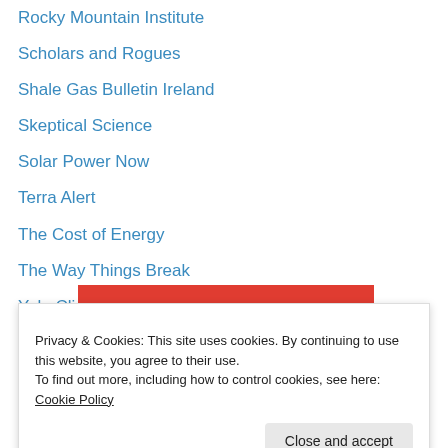Rocky Mountain Institute
Scholars and Rogues
Shale Gas Bulletin Ireland
Skeptical Science
Solar Power Now
Terra Alert
The Cost of Energy
The Way Things Break
Yale Climate Forum Playlist
Advertisements
[Figure (other): Pocket Casts advertisement banner with red background and white logo]
Privacy & Cookies: This site uses cookies. By continuing to use this website, you agree to their use. To find out more, including how to control cookies, see here: Cookie Policy
Close and accept
[Figure (other): Pocket Casts advertisement bottom banner with text 'listeners, for']